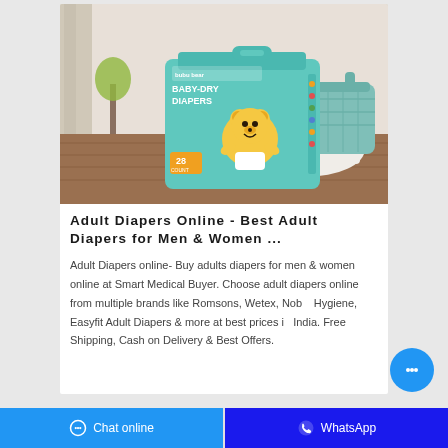[Figure (photo): Product photo of 'bubu bear BABY-DRY DIAPERS' box (28 count) with teal/turquoise packaging featuring a yellow cartoon bear character, placed on a wooden surface with a white cloth and teal basket in the background]
Adult Diapers Online - Best Adult Diapers for Men & Women ...
Adult Diapers online- Buy adults diapers for men & women online at Smart Medical Buyer. Choose adult diapers online from multiple brands like Romsons, Wetex, Noble Hygiene, Easyfit Adult Diapers & more at best prices in India. Free Shipping, Cash on Delivery & Best Offers.
Chat online | WhatsApp